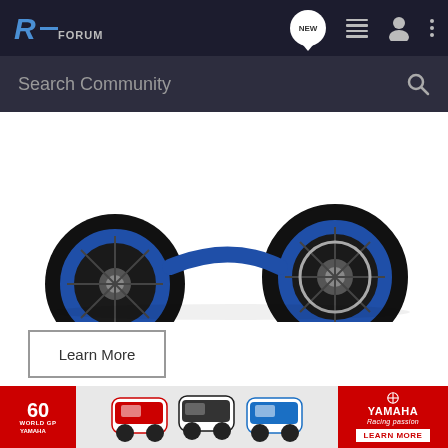R-FORUM | NEW | navigation icons
Search Community
[Figure (photo): Bottom portion of a blue Yamaha motorcycle showing front and rear wheels with blue rims against white background]
Learn More
stg313 · Registered
Joined Apr 7, 2010 · 1,589 Posts
#5 · Sep 27, 2010
Id really like to join yall on one of those 5 and dime rides ive heard s… I need to do th… n this
[Figure (photo): Yamaha 60th World GP Anniversary advertisement banner showing racing motorcycles]